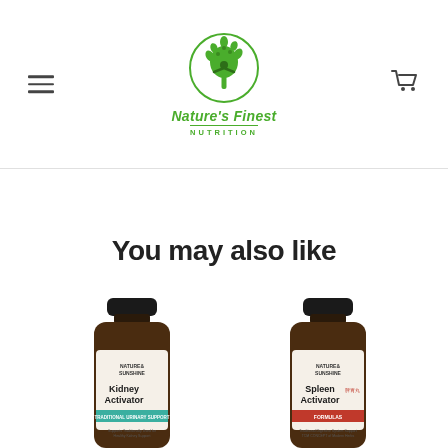Nature's Finest Nutrition
You may also like
[Figure (photo): Nature's Sunshine Kidney Activator supplement bottle with brown glass and teal label, partially cropped]
[Figure (photo): Nature's Sunshine Spleen Activator supplement bottle with brown glass and red label, partially cropped]